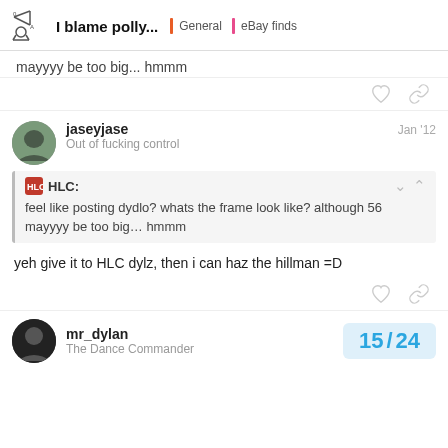I blame polly... | General | eBay finds
mayyyy be too big... hmmm
jaseyjase — Jan '12 — Out of fucking control
HLC: feel like posting dydlo? whats the frame look like? although 56 mayyyy be too big… hmmm
yeh give it to HLC dylz, then i can haz the hillman =D
mr_dylan — The Dance Commander — 15 / 24